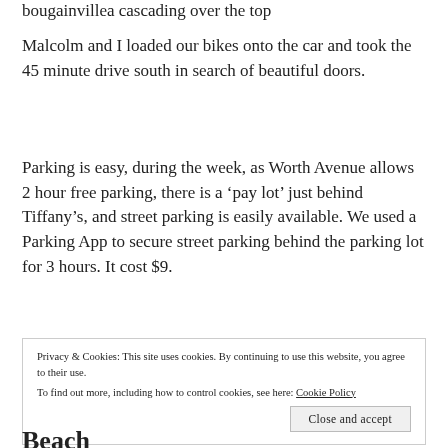bougainvillea cascading over the top
Malcolm and I loaded our bikes onto the car and took the 45 minute drive south in search of beautiful doors.
Parking is easy, during the week, as Worth Avenue allows 2 hour free parking, there is a ‘pay lot’ just behind Tiffany’s, and street parking is easily available. We used a Parking App to secure street parking behind the parking lot for 3 hours. It cost $9.
Privacy & Cookies: This site uses cookies. By continuing to use this website, you agree to their use. To find out more, including how to control cookies, see here: Cookie Policy
Close and accept
Beach